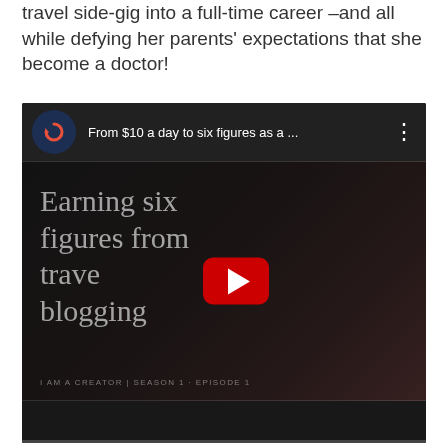travel side-gig into a full-time career –and all while defying her parents' expectations that she become a doctor!
[Figure (screenshot): YouTube video embed showing a video titled 'From $10 a day to six figures as a ...' with thumbnail showing text 'Earning six figures from travel blogging' with a woman smiling in a red top, YouTube play button visible, and subtitle 'I AM A CREATOR | SEASON 1 · EPISODE 1']